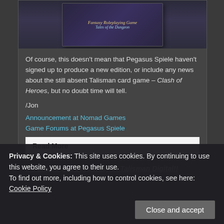[Figure (photo): Book cover showing 'Fantasy Roleplaying Game Tales of the Dungeon' on a dark purple/blue background]
Of course, this doesn't mean that Pegasus Spiele haven't signed up to produce a new edition, or include any news about the still absent Talisman card game – Clash of Heroes, but no doubt time will tell.
/Jon
Announcement at Nomad Games
Game Forums at Pegasus Spiele
Read More
It's time to get Legendary in Talisman Digital!!
Privacy & Cookies: This site uses cookies. By continuing to use this website, you agree to their use.
To find out more, including how to control cookies, see here: Cookie Policy
Close and accept